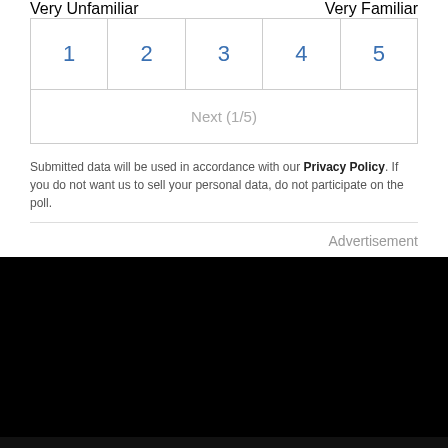Very Unfamiliar
Very Familiar
| 1 | 2 | 3 | 4 | 5 |
| --- | --- | --- | --- | --- |
Next (1/5)
Submitted data will be used in accordance with our Privacy Policy. If you do not want us to sell your personal data, do not participate on the poll.
Advertisement
We use cookies to improve your experience on our site and to show you relevant advertising. To find out more, read our privacy policy.